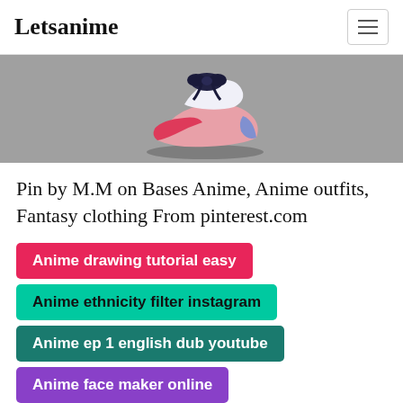Letsanime
[Figure (illustration): Gray banner image showing an anime-style high-heel shoe with a blue/pink color scheme and dark bow decoration on top, casting a shadow on a gray background.]
Pin by M.M on Bases Anime, Anime outfits, Fantasy clothing From pinterest.com
Anime drawing tutorial easy
Anime ethnicity filter instagram
Anime ep 1 english dub youtube
Anime face maker online